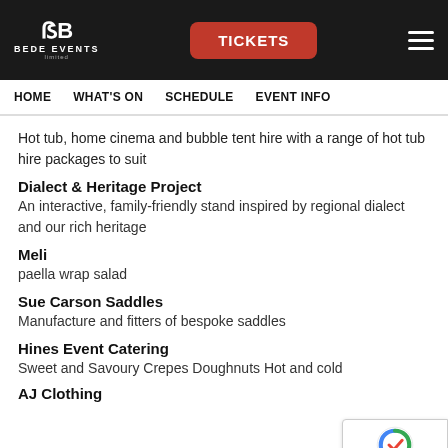BEDE EVENTS Limited — TICKETS | navigation menu
HOME   WHAT'S ON   SCHEDULE   EVENT INFO
Hot tub, home cinema and bubble tent hire with a range of hot tub hire packages to suit
Dialect & Heritage Project
An interactive, family-friendly stand inspired by regional dialect and our rich heritage
Meli
paella wrap salad
Sue Carson Saddles
Manufacture and fitters of bespoke saddles
Hines Event Catering
Sweet and Savoury Crepes Doughnuts Hot and cold
AJ Clothing